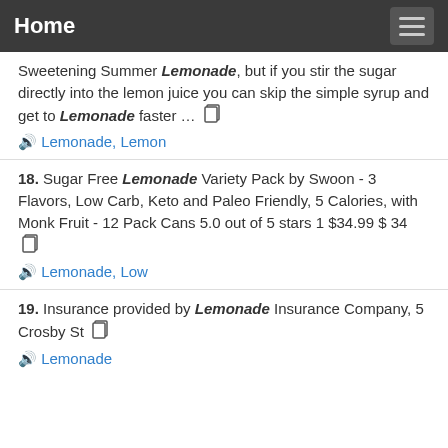Home
Sweetening Summer Lemonade, but if you stir the sugar directly into the lemon juice you can skip the simple syrup and get to Lemonade faster …
🔊 Lemonade, Lemon
18. Sugar Free Lemonade Variety Pack by Swoon - 3 Flavors, Low Carb, Keto and Paleo Friendly, 5 Calories, with Monk Fruit - 12 Pack Cans 5.0 out of 5 stars 1 $34.99 $ 34
🔊 Lemonade, Low
19. Insurance provided by Lemonade Insurance Company, 5 Crosby St
🔊 Lemonade